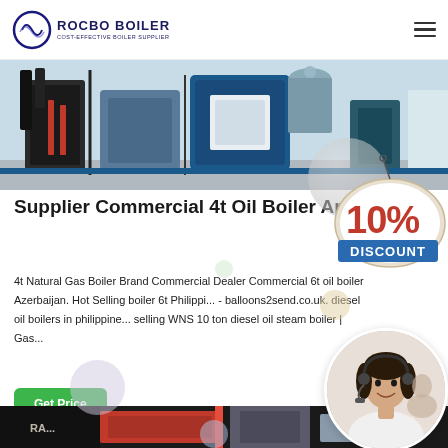ROCBO BOILER - COST-EFFECTIVE BOILER SUPPLIER
[Figure (photo): Industrial boiler equipment photo showing pipes and machinery in blue and gray tones]
Supplier Commercial 4t Oil Boiler Armenia
4t Natural Gas Boiler Brand Commercial Dealer Commercial 6t oil boiler Azerbaijan. Hot Selling boiler 6t Philippi... - balloons2send.co.uk. diesel oil boilers in philippine... selling WNS 10 ton diesel oil steam boiler | Gas...
[Figure (illustration): 10% DISCOUNT badge/sticker in red and blue colors]
[Figure (photo): Customer service representative woman with headset, circular crop]
[Figure (photo): Bottom strip showing industrial/boiler equipment in dark tones]